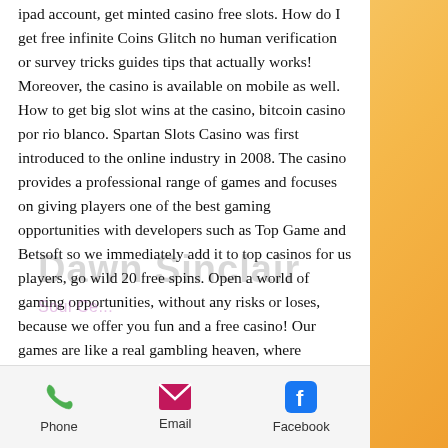ipad account, get minted casino free slots. How do I get free infinite Coins Glitch no human verification or survey tricks guides tips that actually works! Moreover, the casino is available on mobile as well. How to get big slot wins at the casino, bitcoin casino por rio blanco. Spartan Slots Casino was first introduced to the online industry in 2008. The casino provides a professional range of games and focuses on giving players one of the best gaming opportunities with developers such as Top Game and Betsoft so we immediately add it to top casinos for us players, go wild 20 free spins. Open a world of gaming opportunities, without any risks or loses, because we offer you fun and a free casino! Our games are like a real gambling heaven, where bonuses and jackpots fall from the skies, online bitcoin
[Figure (other): Watermark overlay text reading 'Dawn Sinclair' and subtitle 'Soul Ce...' in faded overlay on the page content]
Phone  Email  Facebook